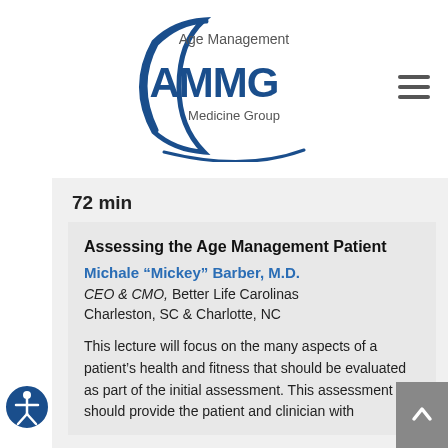[Figure (logo): Age Management Medicine Group (AMMG) logo with crescent moon shape, blue text]
72 min
Assessing the Age Management Patient
Michale “Mickey” Barber, M.D.
CEO & CMO, Better Life Carolinas Charleston, SC & Charlotte, NC
This lecture will focus on the many aspects of a patient’s health and fitness that should be evaluated as part of the initial assessment. This assessment should provide the patient and clinician with